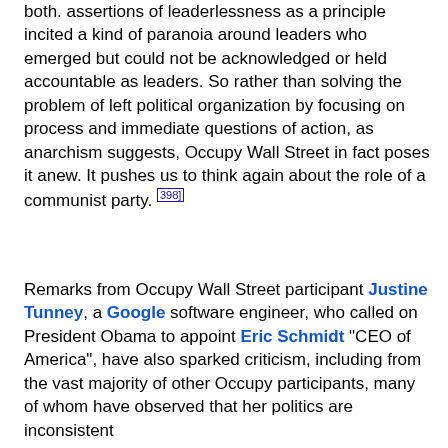both. assertions of leaderlessness as a principle incited a kind of paranoia around leaders who emerged but could not be acknowledged or held accountable as leaders. So rather than solving the problem of left political organization by focusing on process and immediate questions of action, as anarchism suggests, Occupy Wall Street in fact poses it anew. It pushes us to think again about the role of a communist party.[398]
Remarks from Occupy Wall Street participant Justine Tunney, a Google software engineer, who called on President Obama to appoint Eric Schmidt "CEO of America", have also sparked criticism, including from the vast majority of other Occupy participants, many of whom have observed that her politics are inconsistent